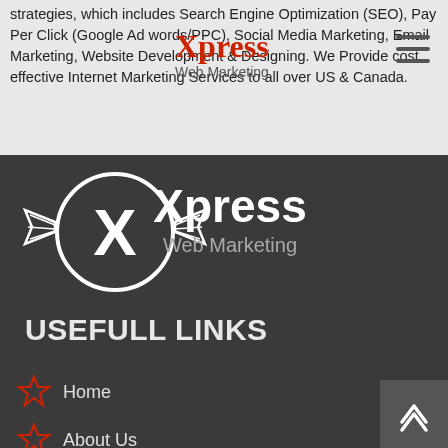strategies, which includes Search Engine Optimization (SEO), Pay Per Click (Google Ad words/PPC), Social Media Marketing, Email Marketing, Website Development & Designing. We Provide cost effective Internet Marketing Services to all over US & Canada.
[Figure (logo): Xpress Web Marketing logo in navigation bar — red Xpress text with gray Web Marketing subtitle]
[Figure (logo): Large Xpress Web Marketing logo on dark background — winged X emblem with Xpress Web Marketing text in white]
USEFULL LINKS
Home
About Us
Services
Portfolio
Why Choose Us
Partner/Reseller Program